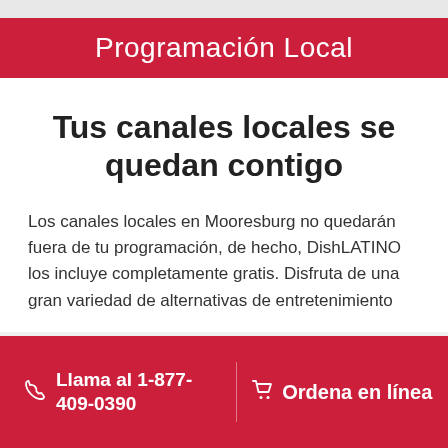Programación Local
Tus canales locales se quedan contigo
Los canales locales en Mooresburg no quedarán fuera de tu programación, de hecho, DishLATINO los incluye completamente gratis. Disfruta de una gran variedad de alternativas de entretenimiento
Llama al 1-877-409-0390
Ordena en línea